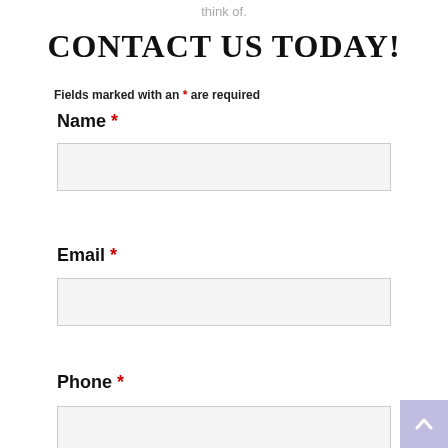think of.
CONTACT US TODAY!
Fields marked with an * are required
Name *
Email *
Phone *